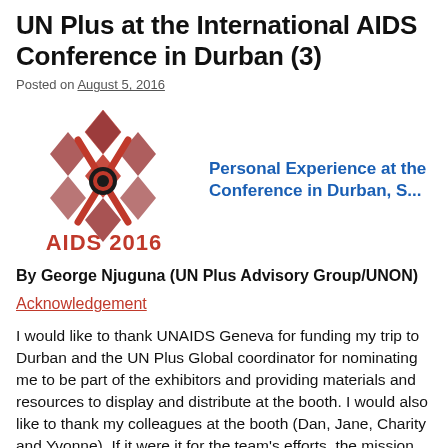UN Plus at the International AIDS Conference in Durban (3)
Posted on August 5, 2016
[Figure (logo): AIDS 2016 conference logo with red ribbon symbol and text 'AIDS 2016']
Personal Experience at the Conference in Durban, S...
By George Njuguna (UN Plus Advisory Group/UNON)
Acknowledgement
I would like to thank UNAIDS Geneva for funding my trip to Durban and the UN Plus Global coordinator for nominating me to be part of the exhibitors and providing materials and resources to display and distribute at the booth. I would also like to thank my colleagues at the booth (Dan, Jane, Charity and Yvonne). If it were it for the team's efforts, the mission